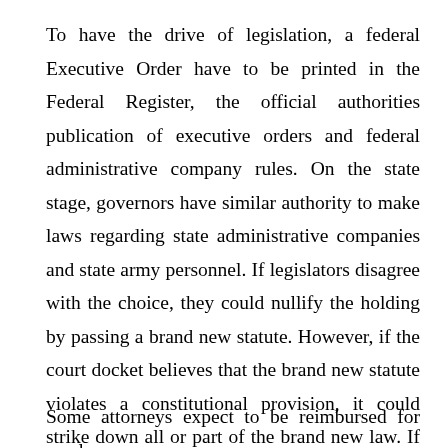To have the drive of legislation, a federal Executive Order have to be printed in the Federal Register, the official authorities publication of executive orders and federal administrative company rules. On the state stage, governors have similar authority to make laws regarding state administrative companies and state army personnel. If legislators disagree with the choice, they could nullify the holding by passing a brand new statute. However, if the court docket believes that the brand new statute violates a constitutional provision, it could strike down all or part of the brand new law. If courts and lawmakers are at odds, the precise regulation on a sure matter can change again and again.
Some attorneys expect to be reimbursed for meals